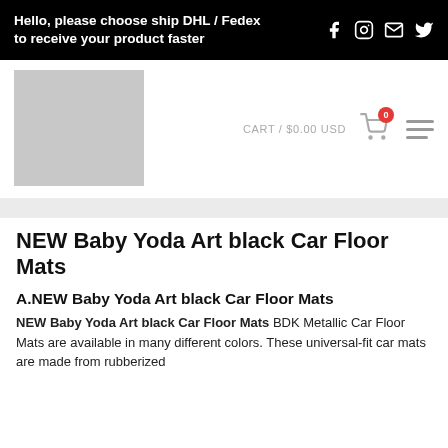Hello, please choose ship DHL / Fedex to receive your product faster
[Figure (logo): Gray placeholder rectangle representing a store logo]
CART / $0.00 USD
NEW Baby Yoda Art black Car Floor Mats
A.NEW Baby Yoda Art black Car Floor Mats
NEW Baby Yoda Art black Car Floor Mats BDK Metallic Car Floor Mats are available in many different colors. These universal-fit car mats are made from rubberized